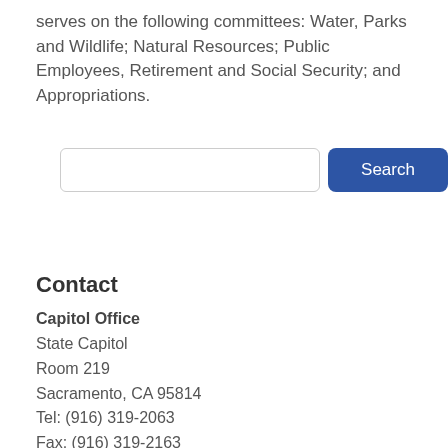serves on the following committees: Water, Parks and Wildlife; Natural Resources; Public Employees, Retirement and Social Security; and Appropriations.
[Figure (other): Search input field with a blue Search button]
Contact
Capitol Office
State Capitol
Room 219
Sacramento, CA 95814
Tel: (916) 319-2063
Fax: (916) 319-2163